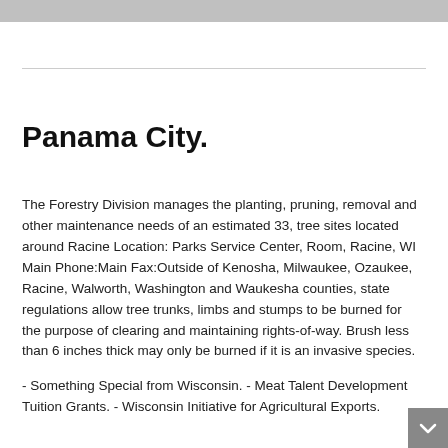Panama City.
The Forestry Division manages the planting, pruning, removal and other maintenance needs of an estimated 33, tree sites located around Racine Location: Parks Service Center, Room, Racine, WI Main Phone:Main Fax:Outside of Kenosha, Milwaukee, Ozaukee, Racine, Walworth, Washington and Waukesha counties, state regulations allow tree trunks, limbs and stumps to be burned for the purpose of clearing and maintaining rights-of-way. Brush less than 6 inches thick may only be burned if it is an invasive species.
- Something Special from Wisconsin. - Meat Talent Development Tuition Grants. - Wisconsin Initiative for Agricultural Exports.